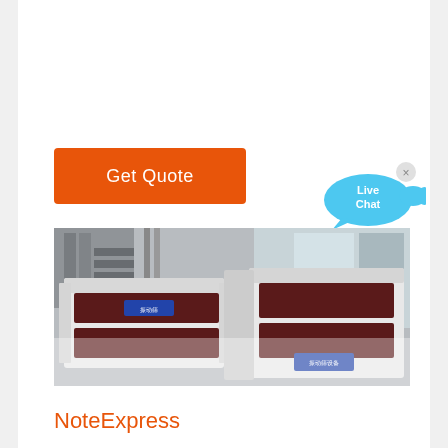[Figure (other): Orange 'Get Quote' button]
[Figure (other): Live Chat speech bubble icon in light blue with 'Live Chat' text and an X close button]
[Figure (photo): Industrial vibrating screen / mining screening machine photographed in a factory warehouse setting. White machine with dark red conveyor belts/screens, Chinese text labels visible on the machine.]
NoteExpress